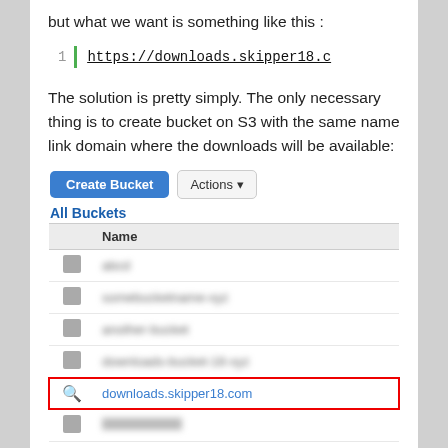but what we want is something like this :
The solution is pretty simply. The only necessary thing is to create bucket on S3 with the same name link domain where the downloads will be available:
[Figure (screenshot): AWS S3 console screenshot showing Create Bucket and Actions buttons, All Buckets list with blurred entries, and a highlighted row showing downloads.skipper18.com]